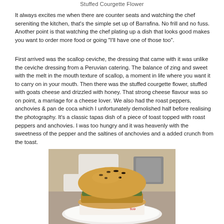Stuffed Courgette Flower
It always excites me when there are counter seats and watching the chef sereniting the kitchen, that's the simple set up of Barrafina. No frill and no fuss. Another point is that watching the chef plating up a dish that looks good makes you want to order more food or going "I'll have one of those too".
First arrived was the scallop ceviche, the dressing that came with it was unlike the ceviche dressing from a Peruvian catering. The balance of zing and sweet with the melt in the mouth texture of scallop, a moment in life where you want it to carry on in your mouth. Then there was the stuffed courgette flower, stuffed with goats cheese and drizzled with honey. That strong cheese flavour was so on point, a marriage for a cheese lover. We also had the roast peppers, anchovies & pan de coca which I unfortunately demolished half before realising the photography. It's a classic tapas dish of a piece of toast topped with roast peppers and anchovies. I was too hungry and it was heavenly with the sweetness of the pepper and the saltines of anchovies and a added crunch from the toast.
[Figure (photo): A burger or sandwich on a white plate with branded paper wrapping, sesame seed bun visible, being served in a kitchen setting with a chef in background.]